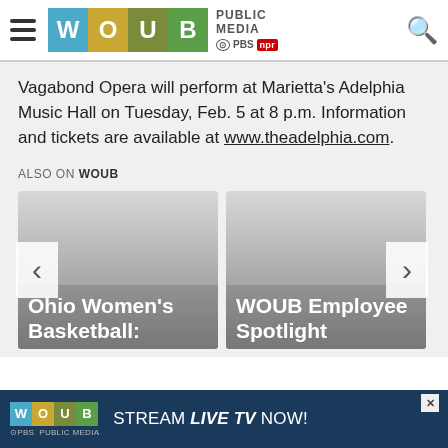WOUB PUBLIC MEDIA — PBS NPR
Vagabond Opera will perform at Marietta's Adelphia Music Hall on Tuesday, Feb. 5 at 8 p.m. Information and tickets are available at www.theadelphia.com.
ALSO ON WOUB
[Figure (screenshot): Card thumbnail showing 'Ohio Women's Basketball:' with navigation arrows and gray gradient background]
[Figure (screenshot): Card thumbnail showing 'WOUB Employee Spotlight' with gray gradient background]
[Figure (screenshot): WOUB Public Media advertisement banner with text 'STREAM LIVE TV NOW!']